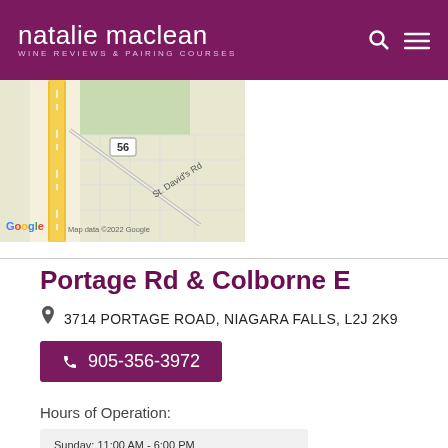natalie maclean WINE REVIEWS & PAIRING COURSES
[Figure (map): Google Maps screenshot showing Portage Road area near Niagara Falls with St. David's Rd visible. Map data ©2022 Google.]
Portage Rd & Colborne E
3714 PORTAGE ROAD, NIAGARA FALLS, L2J 2K9
905-356-3972
Hours of Operation:
Sunday: 11:00 AM - 6:00 PM
Monday: 10:00 AM - 9:00 PM